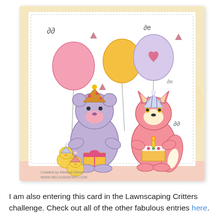[Figure (illustration): A hand-drawn and colored greeting card illustration featuring party animals: a purple bear wearing a party hat and holding a yellow gift box, a pink fox wearing a party hat and holding a birthday cake with a candle, two small yellow chicks wearing party hats, balloons (pink, orange/yellow, lavender with a heart), confetti and swirls on a soft yellow watercolor background. Text at bottom of image reads 'Created by Melissa Denry www.MELISSADENRY.COM'. The card has a dotted border and a pink layer.]
I am also entering this card in the Lawnscaping Critters challenge. Check out all of the other fabulous entries here.